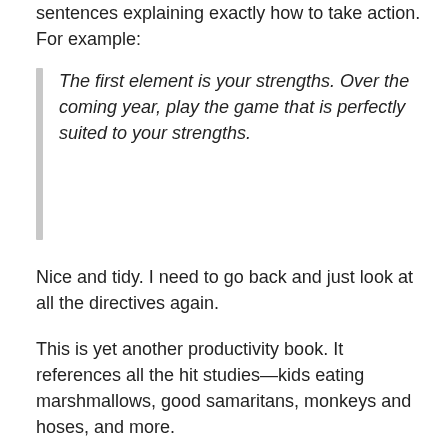sentences explaining exactly how to take action. For example:
The first element is your strengths. Over the coming year, play the game that is perfectly suited to your strengths.
Nice and tidy. I need to go back and just look at all the directives again.
This is yet another productivity book. It references all the hit studies—kids eating marshmallows, good samaritans, monkeys and hoses, and more.
It'd be a great book to start with if you don't read a lot of productivity books. Otherwise, you may have already read longer versions of each chapter.
The directive above is part of a chapter talking about four things that balance around...